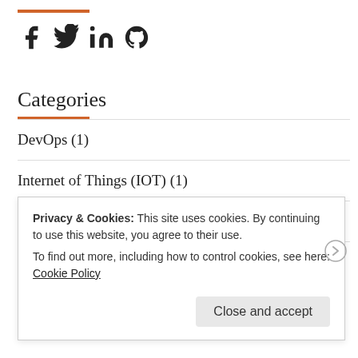[Figure (illustration): Social media icons: Facebook, Twitter, LinkedIn, GitHub]
Categories
DevOps (1)
Internet of Things (IOT) (1)
Microsoft Azure (5)
MOSS 2007 (3)
Privacy & Cookies: This site uses cookies. By continuing to use this website, you agree to their use.
To find out more, including how to control cookies, see here: Cookie Policy
Close and accept